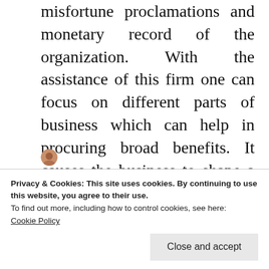misfortune proclamations and monetary record of the organization. With the assistance of this firm one can focus on different parts of business which can help in procuring broad benefits. It causes the business to shape a superior outlook in maintaining all parts of business.
lunajohnson / July 6, 2020 / accounting companies in dubai, accounting firms, audit firms in Dubai, Bookkeeping and Accounting Services / accounting
Privacy & Cookies: This site uses cookies. By continuing to use this website, you agree to their use.
To find out more, including how to control cookies, see here:
Cookie Policy